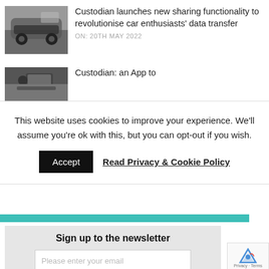[Figure (photo): Photo of a sports car on a street with a building in background]
Custodian launches new sharing functionality to revolutionise car enthusiasts' data transfer
ON:  20TH MAY 2022
[Figure (photo): Photo of a car interior, driver visible]
Custodian: an App to
This website uses cookies to improve your experience. We'll assume you're ok with this, but you can opt-out if you wish.
Accept  Read Privacy & Cookie Policy
Sign up to the newsletter
Please enter your email
Subscribe